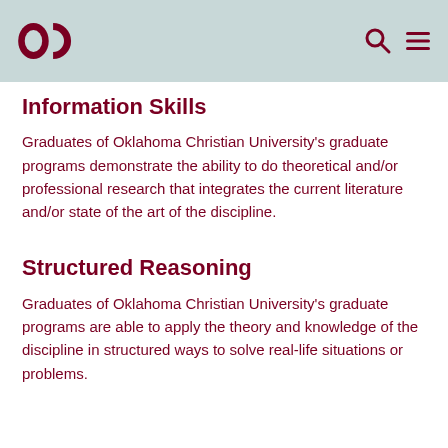OC [logo] [search icon] [menu icon]
Information Skills
Graduates of Oklahoma Christian University's graduate programs demonstrate the ability to do theoretical and/or professional research that integrates the current literature and/or state of the art of the discipline.
Structured Reasoning
Graduates of Oklahoma Christian University's graduate programs are able to apply the theory and knowledge of the discipline in structured ways to solve real-life situations or problems.